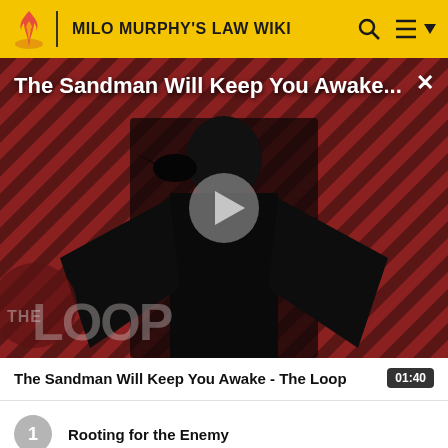MILO MURPHY'S LAW WIKI
[Figure (screenshot): Video thumbnail showing a person in black with a raven, on a diagonal striped red/dark background. Overlay text: 'The Sandman Will Keep You Awake...' with a play button in the center. THE LOOP watermark in lower left.]
The Sandman Will Keep You Awake - The Loop  01:40
1  Rooting for the Enemy